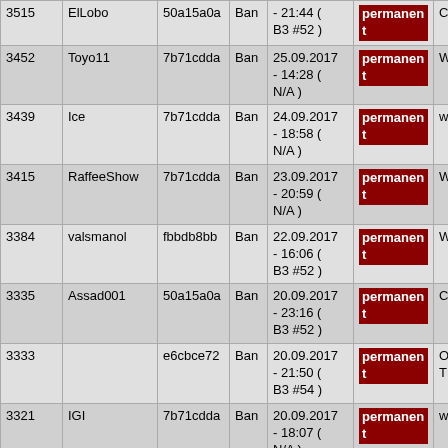| # | Name | SteamID | Type | Date | Duration | Reason |
| --- | --- | --- | --- | --- | --- | --- |
| 3515 | ElLobo | 50a15a0a | Ban | - 21:44 ( B3 #52 ) | permanent | Cheats #5 |
| 3452 | Toyo11 | 7b71cdda | Ban | 25.09.2017 - 14:28 ( N/A ) | permanent | WH |
| 3439 | Ice | 7b71cdda | Ban | 24.09.2017 - 18:58 ( N/A ) | permanent | wh 54 |
| 3415 | RaffeeShow | 7b71cdda | Ban | 23.09.2017 - 20:59 ( N/A ) | permanent | WH |
| 3384 | valsmanol | fbbdb8bb | Ban | 22.09.2017 - 16:06 ( B3 #52 ) | permanent | WH |
| 3335 | Assad001 | 50a15a0a | Ban | 20.09.2017 - 23:16 ( B3 #52 ) | permanent | Cheats #5 |
| 3333 |  | e6cbce72 | Ban | 20.09.2017 - 21:50 ( B3 #54 ) | permanent | Opakovan pouze TK |
| 3321 | IGI | 7b71cdda | Ban | 20.09.2017 - 18:07 ( N/A ) | permanent | wh |
| 3277 | BAN IP | - | Ban | 19.09.2017 - 14:52 ( N/A ) | permanent | Umyslne T |
| 3261 | 6rofljoints6 | 7b71cdda | Ban | 18.09.2017 - 21:11 ( B3 #54 ) | permanent | Cheaty #5 |
|  |  |  |  | 18.09.2017 |  |  |